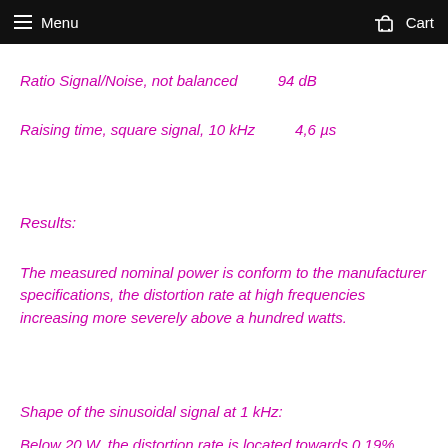Menu   Cart
Ratio Signal/Noise, not balanced    94 dB
Raising time, square signal, 10 kHz    4,6 µs
Results:
The measured nominal power is conform to the manufacturer specifications, the distortion rate at high frequencies increasing more severely above a hundred watts.
Shape of the sinusoidal signal at 1 kHz:
Below 20 W, the distortion rate is located towards 0.19%. The